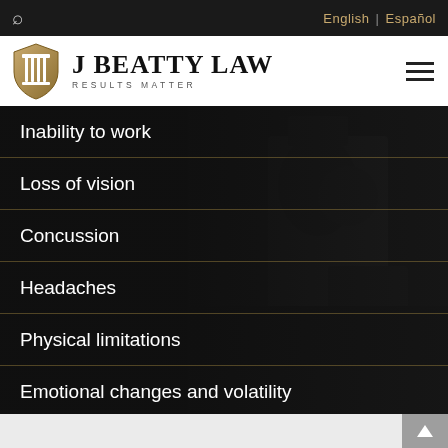🔍   English | Español
[Figure (logo): J Beatty Law logo with shield icon and tagline RESULTS MATTER]
Inability to work
Loss of vision
Concussion
Headaches
Physical limitations
Emotional changes and volatility